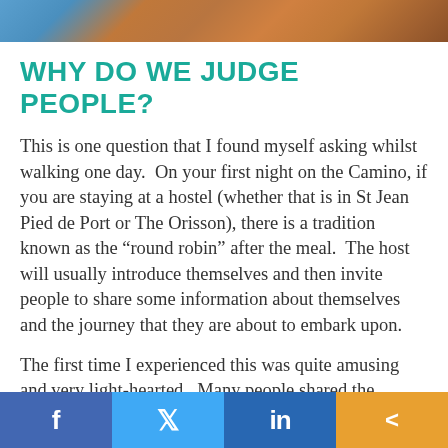[Figure (photo): Partial photo strip at the top of the page showing a warm-toned image with brown and blue tones]
WHY DO WE JUDGE PEOPLE?
This is one question that I found myself asking whilst walking one day.  On your first night on the Camino, if you are staying at a hostel (whether that is in St Jean Pied de Port or The Orisson), there is a tradition known as the “round robin” after the meal.  The host will usually introduce themselves and then invite people to share some information about themselves and the journey that they are about to embark upon.
The first time I experienced this was quite amusing and very light-hearted.  Many people shared the simple facts such as their name, where they were from and how far they
f    in  